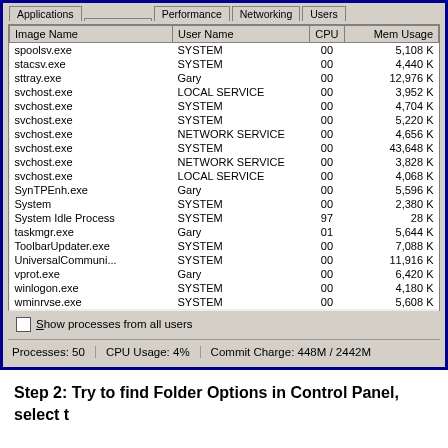[Figure (screenshot): Windows Task Manager screenshot showing Processes tab with columns: Image Name, User Name, CPU, Mem Usage. Processes listed from spoolsv.exe to wminrvse.exe. Bottom shows status bar with Processes: 50, CPU Usage: 4%, Commit Charge: 448M / 2442M.]
Step 2: Try to find Folder Options in Control Panel, select t